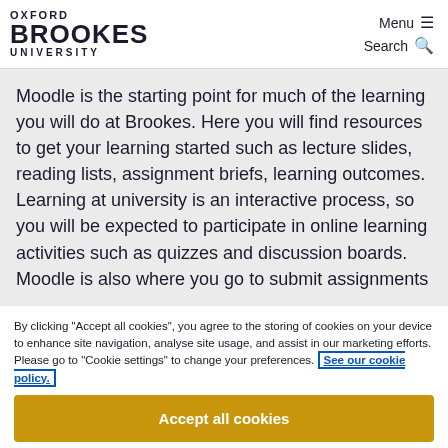OXFORD BROOKES UNIVERSITY | Menu ☰ | Search 🔍
Moodle is the starting point for much of the learning you will do at Brookes. Here you will find resources to get your learning started such as lecture slides, reading lists, assignment briefs, learning outcomes. Learning at university is an interactive process, so you will be expected to participate in online learning activities such as quizzes and discussion boards. Moodle is also where you go to submit assignments
By clicking "Accept all cookies", you agree to the storing of cookies on your device to enhance site navigation, analyse site usage, and assist in our marketing efforts. Please go to "Cookie settings" to change your preferences. See our cookie policy.
Accept all cookies
Cookie settings